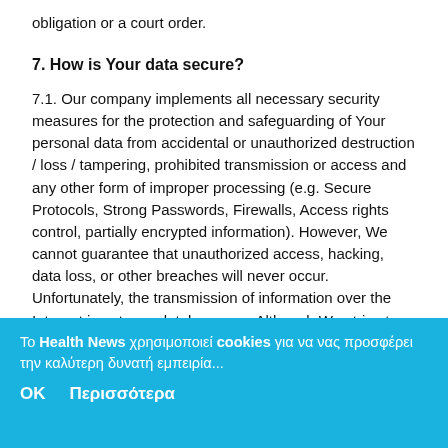obligation or a court order.
7. How is Your data secure?
7.1. Our company implements all necessary security measures for the protection and safeguarding of Your personal data from accidental or unauthorized destruction / loss / tampering, prohibited transmission or access and any other form of improper processing (e.g. Secure Protocols, Strong Passwords, Firewalls, Access rights control, partially encrypted information). However, We cannot guarantee that unauthorized access, hacking, data loss, or other breaches will never occur. Unfortunately, the transmission of information over the Internet is not completely secure. Although We strive to
Το Health News χρησιμοποιεί cookies για να να προσφέρει την καλύτερη δυνατή εμπειρία...
OK     Περισσότερα